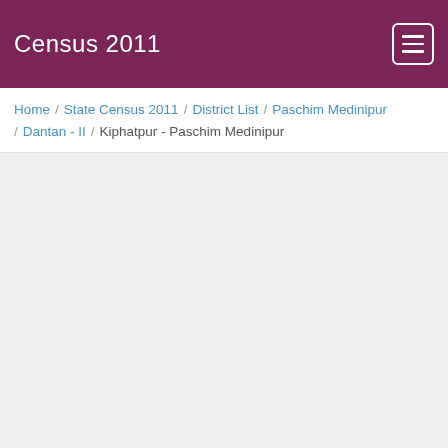Census 2011
Home / State Census 2011 / District List / Paschim Medinipur / Dantan - II / Kiphatpur - Paschim Medinipur